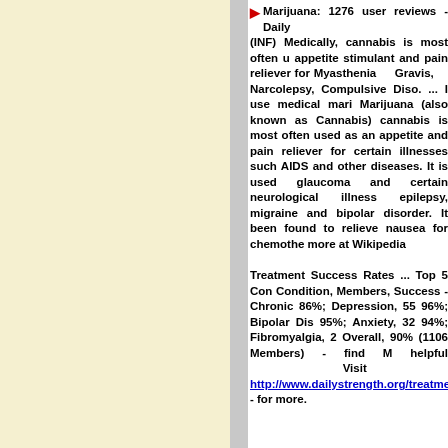▶ Marijuana: 1276 user reviews - Daily (INF) Medically, cannabis is most often used as an appetite stimulant and pain reliever for Myasthenia Gravis, Narcolepsy, Compulsive Diso. ... I use medical marijuana (also known as Cannabis) cannabis is most often used as an appetite and pain reliever for certain illnesses such AIDS and other diseases. It is used glaucoma and certain neurological illnesses epilepsy, migraine and bipolar disorder. It has been found to relieve nausea for chemotherapy more at Wikipedia
Treatment Success Rates ... Top 5 Conditions, Condition, Members, Success - Chronic Pain 86%; Depression, 55 96%; Bipolar Disorder 95%; Anxiety, 32 94%; Fibromyalgia, 2 Overall, 90% (1106 Members) - find more helpful  Visit http://www.dailystrength.org/treatments/M - for more.
▶ RxMarihuana.com: Index of Medical C | (INF) Marijuana: The Forbidden Medic